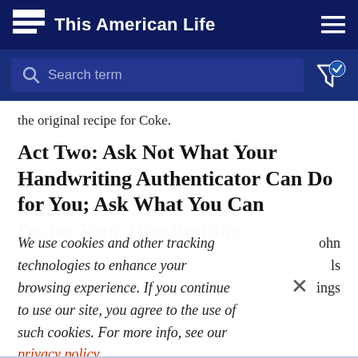This American Life
[Figure (screenshot): Search bar with 'Search term' placeholder text on dark navy background, with filter icon on right]
the original recipe for Coke.
Act Two: Ask Not What Your Handwriting Authenticator Can Do for You; Ask What You Can Do for Your Handwriting Authenticator
We use cookies and other tracking technologies to enhance your browsing experience. If you continue to use our site, you agree to the use of such cookies. For more info, see our privacy policy.